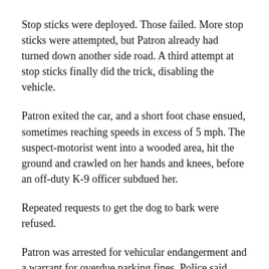Stop sticks were deployed. Those failed. More stop sticks were attempted, but Patron already had turned down another side road. A third attempt at stop sticks finally did the trick, disabling the vehicle.
Patron exited the car, and a short foot chase ensued, sometimes reaching speeds in excess of 5 mph. The suspect-motorist went into a wooded area, hit the ground and crawled on her hands and knees, before an off-duty K-9 officer subdued her.
Repeated requests to get the dog to bark were refused.
Patron was arrested for vehicular endangerment and a warrant for overdue parking fines. Police said alcohol was a factor in the parking tickets.